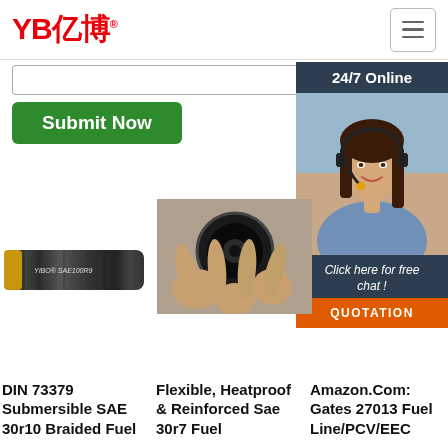[Figure (logo): YB亿博 logo in red with registered trademark symbol]
[Figure (screenshot): Hamburger menu button (three horizontal lines) in a bordered box]
[Figure (screenshot): Search input box with border]
[Figure (screenshot): Green Submit Now button]
[Figure (screenshot): 24/7 Online sidebar panel with customer service representative photo, 'Click here for free chat!' text, and orange QUOTATION button]
[Figure (photo): Black braided hydraulic hose labeled YIBO SAE100R9]
[Figure (photo): Hand holding end of black rubber hose showing cross-section]
DIN 73379 Submersible SAE 30r10 Braided Fuel
Flexible, Heatproof & Reinforced Sae 30r7 Fuel
Amazon.Com: Gates 27013 Fuel Line/PCV/EEC